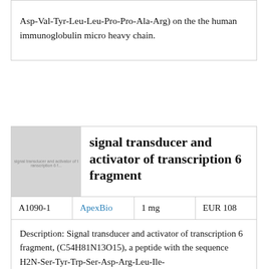Asp-Val-Tyr-Leu-Leu-Pro-Pro-Ala-Arg) on the the human immunoglobulin micro heavy chain.
[Figure (photo): Placeholder image for signal transducer and activator of transcription 6 fragment product]
signal transducer and activator of transcription 6 fragment
| A1090-1 | ApexBio | 1 mg | EUR 108 |
| --- | --- | --- | --- |
Description: Signal transducer and activator of transcription 6 fragment, (C54H81N13O15), a peptide with the sequence H2N-Ser-Tyr-Trp-Ser-Asp-Arg-Leu-Ile-